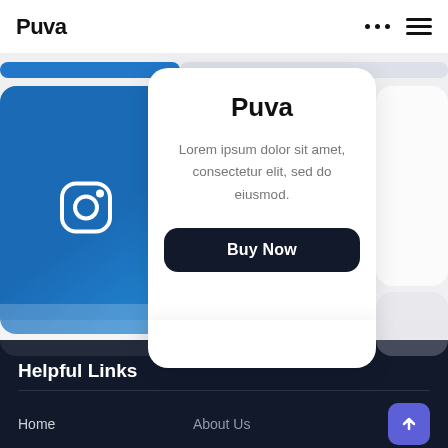Puva
[Figure (screenshot): Mobile app UI screenshot showing Instagram-style blue card on left, a centered white product card with 'Puva' title, lorem ipsum description, and Buy Now button, plus a partial grey card on right]
Puva
Lorem ipsum dolor sit amet, consectetur elit, sed do eiusmod.
Buy Now
Helpful Links
Home
About Us